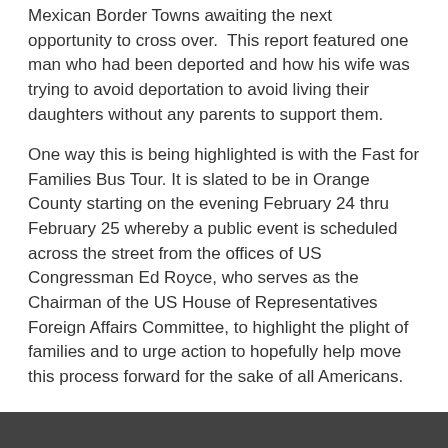Mexican Border Towns awaiting the next opportunity to cross over.  This report featured one man who had been deported and how his wife was trying to avoid deportation to avoid living their daughters without any parents to support them.
One way this is being highlighted is with the Fast for Families Bus Tour. It is slated to be in Orange County starting on the evening February 24 thru February 25 whereby a public event is scheduled across the street from the offices of US Congressman Ed Royce, who serves as the Chairman of the US House of Representatives Foreign Affairs Committee, to highlight the plight of families and to urge action to hopefully help move this process forward for the sake of all Americans.
TEST at 1:56 PM    No comments:
Share